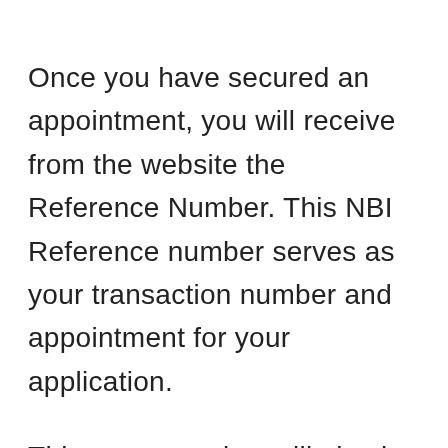Once you have secured an appointment, you will receive from the website the Reference Number. This NBI Reference number serves as your transaction number and appointment for your application.
This same number will also be use by the cashier from your chosen